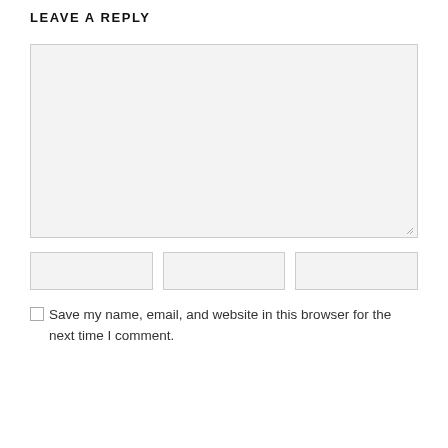LEAVE A REPLY
[Figure (other): Large empty textarea input box with light gray background and resize handle at bottom-right corner]
[Figure (other): Three side-by-side empty text input fields with light gray background and border]
Save my name, email, and website in this browser for the next time I comment.